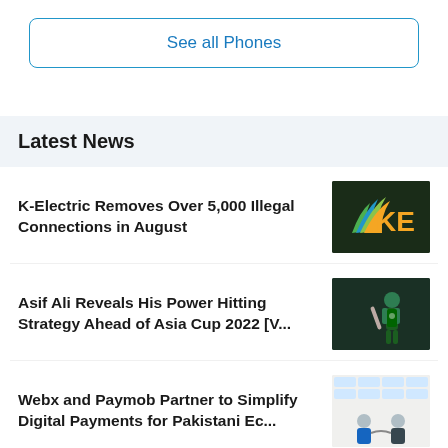See all Phones
Latest News
K-Electric Removes Over 5,000 Illegal Connections in August
Asif Ali Reveals His Power Hitting Strategy Ahead of Asia Cup 2022 [V...
Webx and Paymob Partner to Simplify Digital Payments for Pakistani Ec...